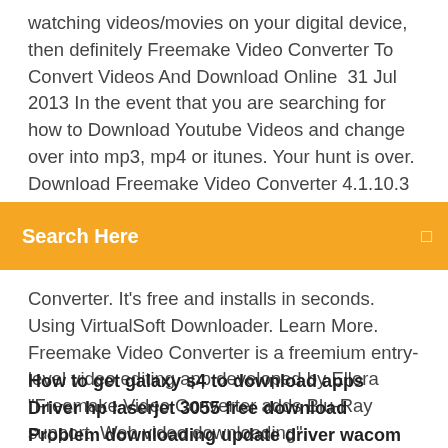watching videos/movies on your digital device, then definitely Freemake Video Converter To Convert Videos And Download Online  31 Jul 2013 In the event that you are searching for how to Download Youtube Videos and change over into mp3, mp4 or itunes. Your hunt is over. Download Freemake Video Converter 4.1.10.3 free. Convert video free between 300+ formats and
Search Here
Converter. It's free and installs in seconds. Using VirtualSoft Downloader. Learn More. Freemake Video Converter is a freemium entry-level video editing app developed by Ellora "Freemake Video Converter adds Blu-Ray support, Web video downloading". DownloadSquad. AOL Inc. Archived from the original on 18 October
How to get galaxy s4 to download apps
Driver hp laserjet 3055 free download
Problem downloading update driver wacom intuos